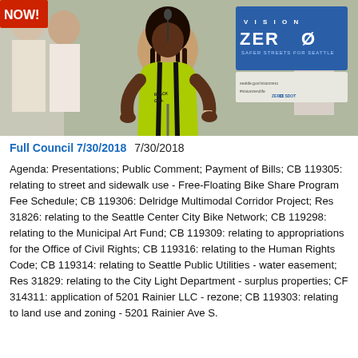[Figure (photo): A woman in a yellow-green cycling jersey speaks at a microphone at what appears to be a public event or rally. Behind her, people hold signs including a 'Vision Zero - Safer Streets for Seattle' sign. The setting appears to be an outdoor or public gathering.]
Full Council 7/30/2018   7/30/2018
Agenda: Presentations; Public Comment; Payment of Bills; CB 119305: relating to street and sidewalk use - Free-Floating Bike Share Program Fee Schedule; CB 119306: Delridge Multimodal Corridor Project; Res 31826: relating to the Seattle Center City Bike Network; CB 119298: relating to the Municipal Art Fund; CB 119309: relating to appropriations for the Office of Civil Rights; CB 119316: relating to the Human Rights Code; CB 119314: relating to Seattle Public Utilities - water easement; Res 31829: relating to the City Light Department - surplus properties; CF 314311: application of 5201 Rainier LLC - rezone; CB 119303: relating to land use and zoning - 5201 Rainier Ave S.